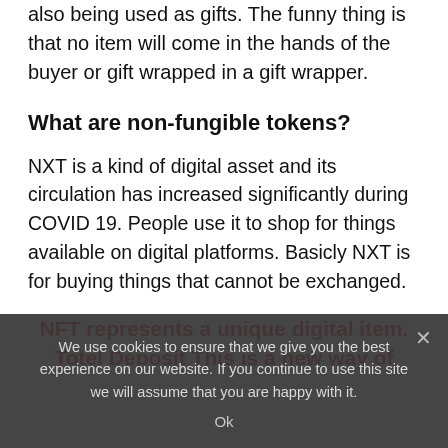also being used as gifts. The funny thing is that no item will come in the hands of the buyer or gift wrapped in a gift wrapper.
What are non-fungible tokens?
NXT is a kind of digital asset and its circulation has increased significantly during COVID 19. People use it to shop for things available on digital platforms. Basicly NXT is for buying things that cannot be exchanged.
NFT represents a unique digital item. Totel Deposit This is a new way of
We use cookies to ensure that we give you the best experience on our website. If you continue to use this site we will assume that you are happy with it. Ok